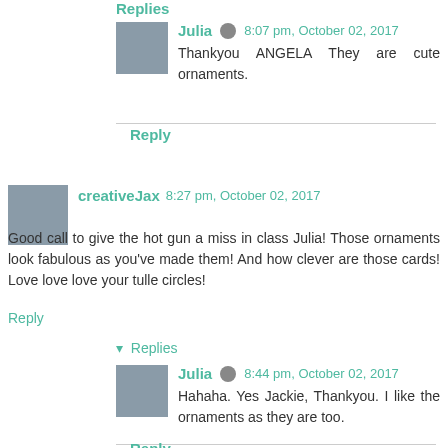Replies
Julia 🖊 8:07 pm, October 02, 2017
Thankyou ANGELA They are cute ornaments.
Reply
creativeJax 8:27 pm, October 02, 2017
Good call to give the hot gun a miss in class Julia! Those ornaments look fabulous as you've made them! And how clever are those cards! Love love love your tulle circles!
Reply
▾ Replies
Julia 🖊 8:44 pm, October 02, 2017
Hahaha. Yes Jackie, Thankyou. I like the ornaments as they are too.
Reply